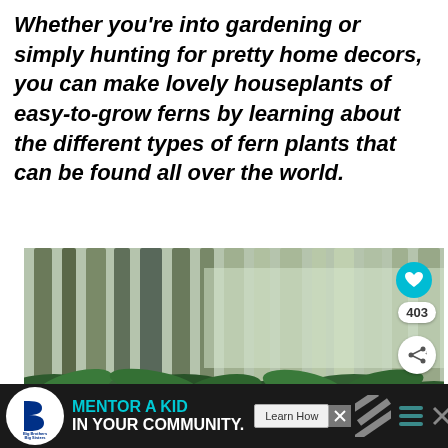Whether you're into gardening or simply hunting for pretty home decors, you can make lovely houseplants of easy-to-grow ferns by learning about the different types of fern plants that can be found all over the world.
[Figure (photo): Dense forest with tall tree trunks and green fern undergrowth, misty atmosphere. Includes like heart button (teal circle), share button (white circle), and count badge showing 403.]
[Figure (infographic): Advertisement banner: Big Brothers Big Sisters logo on left, cyan text 'MENTOR A KID IN YOUR COMMUNITY.' with 'Learn How' button, decorative diagonal stripes and hamburger menu icon on right.]